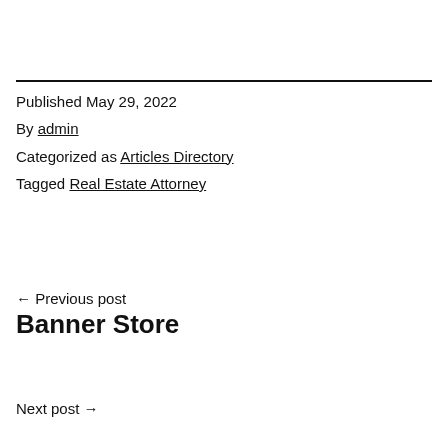Published May 29, 2022
By admin
Categorized as Articles Directory
Tagged Real Estate Attorney
← Previous post
Banner Store
Next post →